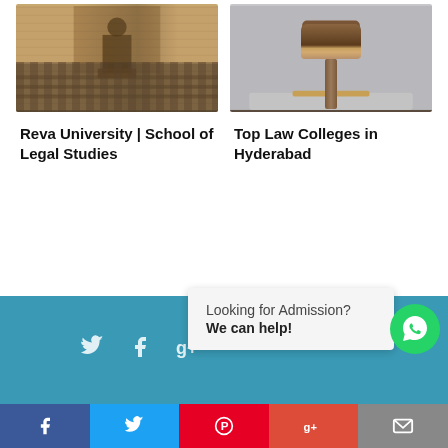[Figure (photo): Lecture hall with audience/students, speaker at podium]
[Figure (photo): Judge's gavel/mallet on a surface]
Reva University | School of Legal Studies
Top Law Colleges in Hyderabad
[Figure (screenshot): Empty ad/content area placeholder]
[Figure (infographic): Teal footer with social media icons (Twitter, Facebook, Google+) and a WhatsApp chat popup saying 'Looking for Admission? We can help!']
Social share bar with Facebook, Twitter, Pinterest, Google+, Email icons